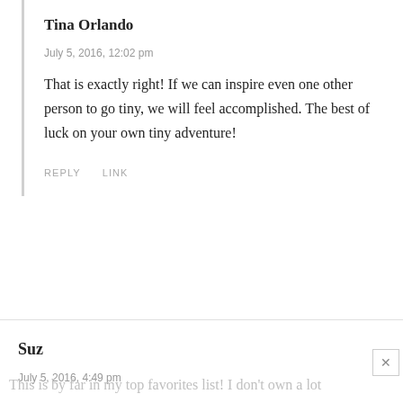Tina Orlando
July 5, 2016, 12:02 pm
That is exactly right! If we can inspire even one other person to go tiny, we will feel accomplished. The best of luck on your own tiny adventure!
REPLY   LINK
Suz
July 5, 2016, 4:49 pm
This is by far in my top favorites list! I don't own a lot